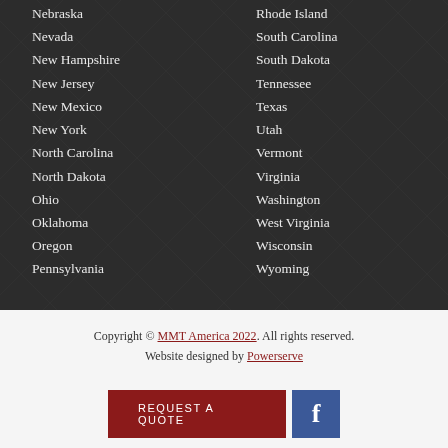Nebraska
Nevada
New Hampshire
New Jersey
New Mexico
New York
North Carolina
North Dakota
Ohio
Oklahoma
Oregon
Pennsylvania
Rhode Island
South Carolina
South Dakota
Tennessee
Texas
Utah
Vermont
Virginia
Washington
West Virginia
Wisconsin
Wyoming
Copyright © MMT America 2022. All rights reserved. Website designed by Powerserve
REQUEST A QUOTE